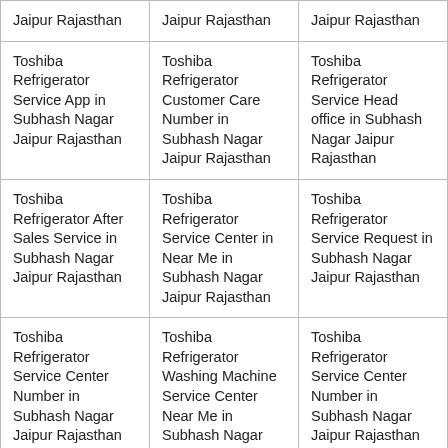| Jaipur Rajasthan | Jaipur Rajasthan | Jaipur Rajasthan |
| Toshiba Refrigerator Service App in Subhash Nagar Jaipur Rajasthan | Toshiba Refrigerator Customer Care Number in Subhash Nagar Jaipur Rajasthan | Toshiba Refrigerator Service Head office in Subhash Nagar Jaipur Rajasthan |
| Toshiba Refrigerator After Sales Service in Subhash Nagar Jaipur Rajasthan | Toshiba Refrigerator Service Center in Near Me in Subhash Nagar Jaipur Rajasthan | Toshiba Refrigerator Service Request in Subhash Nagar Jaipur Rajasthan |
| Toshiba Refrigerator Service Center Number in Subhash Nagar Jaipur Rajasthan | Toshiba Refrigerator Washing Machine Service Center Near Me in Subhash Nagar Jaipur Rajasthan | Toshiba Refrigerator Service Center Number in Subhash Nagar Jaipur Rajasthan |